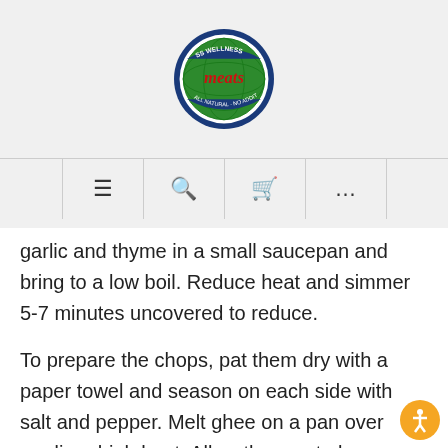[Figure (logo): SS Wellness Meats circular logo with globe and red text]
garlic and thyme in a small saucepan and bring to a low boil. Reduce heat and simmer 5-7 minutes uncovered to reduce.
To prepare the chops, pat them dry with a paper towel and season on each side with salt and pepper. Melt ghee on a pan over medium-high heat. Allow the pan to become very hot before adding the pork chops to ensure a deep brown crust. Cook pork chops 6-8 minutes on each side, depending on the thickness. Turn pork chops over and brush a few teaspoons of glaze over the top. Continue to cook 2 minutes longer. Finish with additional glaze and thyme just before serving.